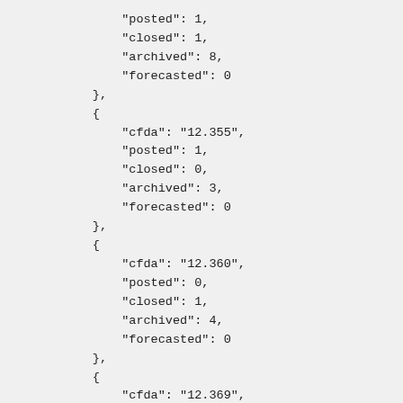"posted": 1,
"closed": 1,
"archived": 8,
"forecasted": 0
},
{
    "cfda": "12.355",
    "posted": 1,
    "closed": 0,
    "archived": 3,
    "forecasted": 0
},
{
    "cfda": "12.360",
    "posted": 0,
    "closed": 1,
    "archived": 4,
    "forecasted": 0
},
{
    "cfda": "12.369",
    "posted": 0,
    "closed": 0,
    "archived": 1,
    "forecasted": 0
},